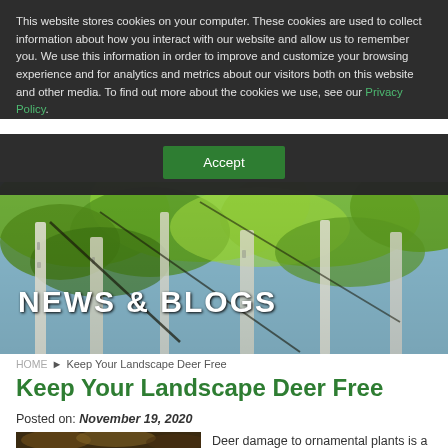This website stores cookies on your computer. These cookies are used to collect information about how you interact with our website and allow us to remember you. We use this information in order to improve and customize your browsing experience and for analytics and metrics about our visitors both on this website and other media. To find out more about the cookies we use, see our Privacy Policy.
[Figure (screenshot): Green Accept button on dark cookie banner background]
[Figure (photo): Looking up through birch trees with green leaves against a blue sky, with NEWS & BLOGS header text overlaid]
HOME ▶ Keep Your Landscape Deer Free
Keep Your Landscape Deer Free
Posted on: November 19, 2020
[Figure (photo): Dark nature/forest photo, partial view]
Deer damage to ornamental plants is a